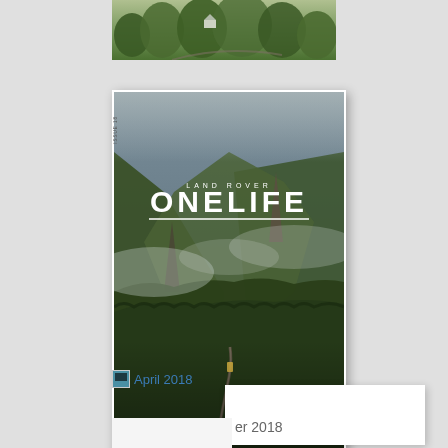[Figure (photo): Partial landscape photo at top showing green trees and foliage, cropped]
[Figure (photo): Land Rover OneLife magazine cover featuring aerial view of a Himalayan mountain town with winding road, dramatic misty cliffs and dense forest, with text overlay 'LAND ROVER ONELIFE' and 'KINGDOM OF HEAVEN']
LAND ROVER
ONELIFE
KINGDOM OF HEAVEN
FOR THE SMALL HIMALAYAN TOWN
OF LAND ROVERS
April 2018
er 2018